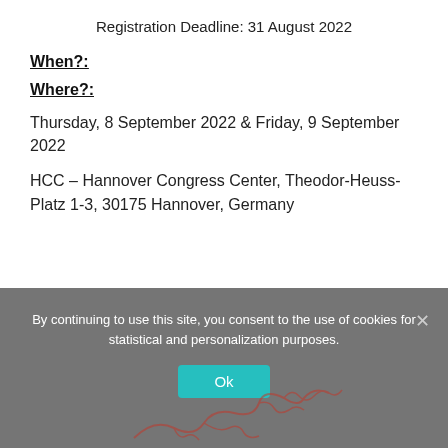Registration Deadline: 31 August 2022
When?:
Where?:
Thursday, 8 September 2022 & Friday, 9 September 2022
HCC – Hannover Congress Center, Theodor-Heuss-Platz 1-3, 30175 Hannover, Germany
By continuing to use this site, you consent to the use of cookies for statistical and personalization purposes.